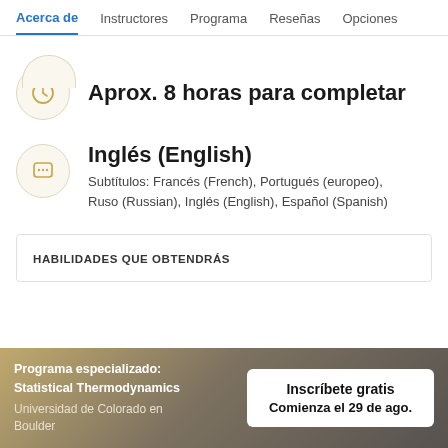Acerca de  Instructores  Programa  Reseñas  Opciones
Aprox. 8 horas para completar
Inglés (English)
Subtítulos: Francés (French), Portugués (europeo), Ruso (Russian), Inglés (English), Español (Spanish)
HABILIDADES QUE OBTENDRÁS
Programa especializado: Statistical Thermodynamics
Universidad de Colorado en Boulder
Inscríbete gratis
Comienza el 29 de ago.